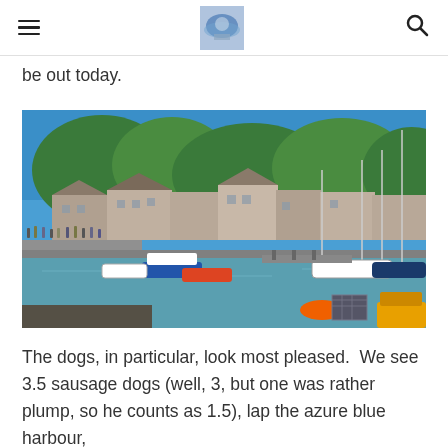[hamburger menu] [logo image] [search icon]
be out today.
[Figure (photo): A sunny harbour scene with boats moored in calm blue-green water, stone buildings and trees in the background, and crowds of people along the quayside.]
The dogs, in particular, look most pleased.  We see 3.5 sausage dogs (well, 3, but one was rather plump, so he counts as 1.5), lap the azure blue harbour,